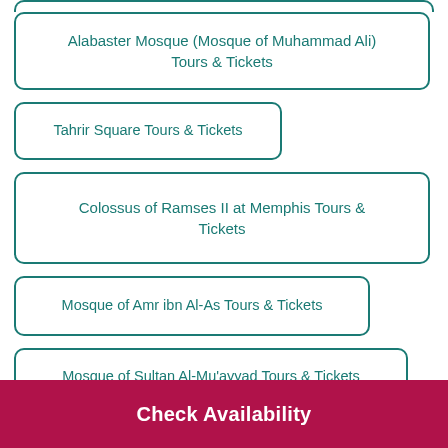Alabaster Mosque (Mosque of Muhammad Ali) Tours & Tickets
Tahrir Square Tours & Tickets
Colossus of Ramses II at Memphis Tours & Tickets
Mosque of Amr ibn Al-As Tours & Tickets
Mosque of Sultan Al-Mu'ayyad Tours & Tickets
Al-Rifai Mosque (Masjid Al-Rifa'i) Tours & Tickets
Check Availability